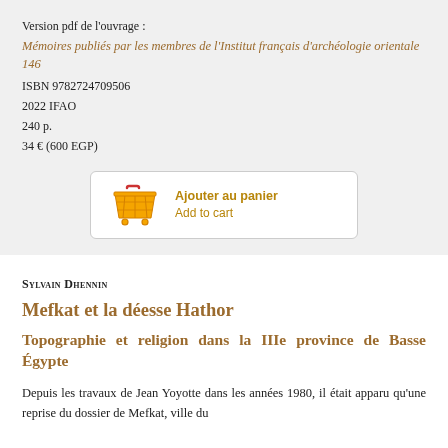Version pdf de l’ouvrage :
Mémoires publiés par les membres de l’Institut français d’archéologie orientale 146
ISBN 9782724709506
2022 IFAO
240 p.
34 € (600 EGP)
[Figure (other): Shopping cart button labelled 'Ajouter au panier / Add to cart']
Sylvain Dhennin
Mefkat et la déesse Hathor
Topographie et religion dans la IIIe province de Basse Égypte
Depuis les travaux de Jean Yoyotte dans les années 1980, il était apparu qu’une reprise du dossier de Mefkat, ville du